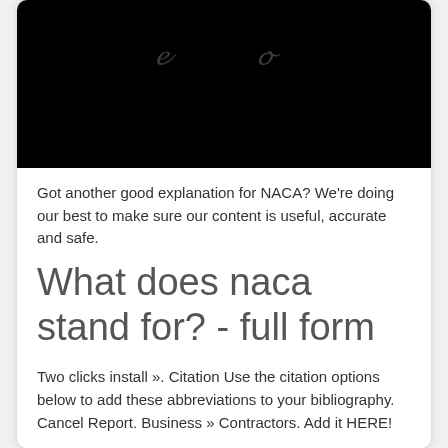[Figure (illustration): Black background image with two faint cursive/script symbols resembling stylized letters or glyphs in gray]
Got another good explanation for NACA? We're doing our best to make sure our content is useful, accurate and safe.
What does naca stand for? - full form
Two clicks install ». Citation Use the citation options below to add these abbreviations to your bibliography. Cancel Report. Business » Contractors. Add it HERE!
.